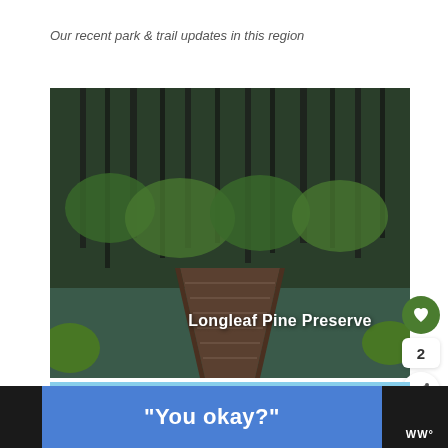Our recent park & trail updates in this region
[Figure (photo): Forested swamp scene with tall pine trees and green undergrowth, a wooden boardwalk trail leading into the forest. Text overlay reads 'Longleaf Pine Preserve'.]
[Figure (photo): Partial view of a second outdoor/nature image with blue sky and trees, partially obscured by bottom bar.]
“You okay?”
2